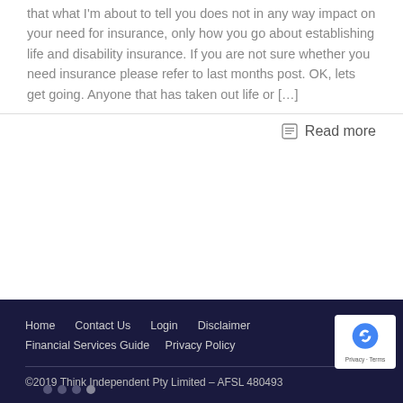that what I'm about to tell you does not in any way impact on your need for insurance, only how you go about establishing life and disability insurance.  If you are not sure whether you need insurance please refer to last months post. OK, lets get going.  Anyone that has taken out life or […]
Read more
Home   Contact Us   Login   Disclaimer   Financial Services Guide   Privacy Policy
©2019 Think Independent Pty Limited – AFSL 480493